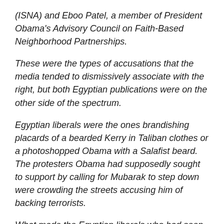(ISNA) and Eboo Patel, a member of President Obama's Advisory Council on Faith-Based Neighborhood Partnerships.
These were the types of accusations that the media tended to dismissively associate with the right, but both Egyptian publications were on the other side of the spectrum.
Egyptian liberals were the ones brandishing placards of a bearded Kerry in Taliban clothes or a photoshopped Obama with a Salafist beard. The protesters Obama had supposedly sought to support by calling for Mubarak to step down were crowding the streets accusing him of backing terrorists.
What made the Egyptian liberals who had seen America